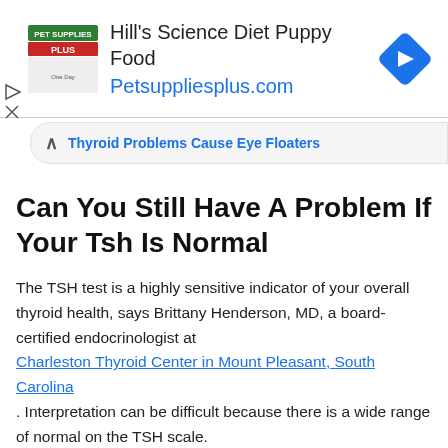[Figure (screenshot): Pet Supplies Plus advertisement banner for Hill's Science Diet Puppy Food with logo, text, URL, and diamond navigation icon]
Thyroid Problems Cause Eye Floaters
Can You Still Have A Problem If Your Tsh Is Normal
The TSH test is a highly sensitive indicator of your overall thyroid health, says Brittany Henderson, MD, a board-certified endocrinologist at Charleston Thyroid Center in Mount Pleasant, South Carolina. Interpretation can be difficult because there is a wide range of normal on the TSH scale.